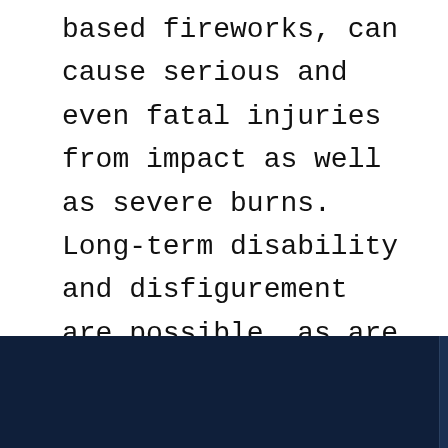based fireworks, can cause serious and even fatal injuries from impact as well as severe burns. Long-term disability and disfigurement are possible, as are the potential loss of bodily functions, appendages or other serious injuries. If you or a loved one suffer any type of firework injury this summer, consult with a trusted personal injury attorney as soon as possible to discuss your legal options.